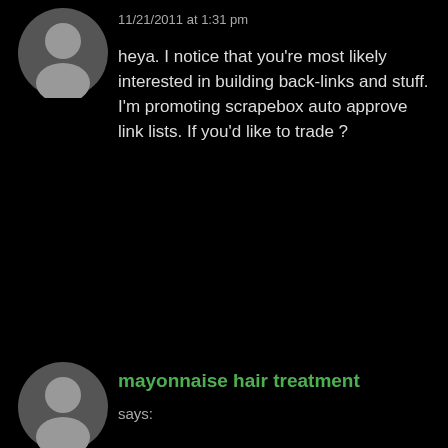11/21/2011 at 1:31 pm
heya. I notice that you're most likely interested in building back-links and stuff. I'm promoting scrapebox auto approve link lists. If you'd like to trade ?
REPLY
mayonnaise hair treatment
says: